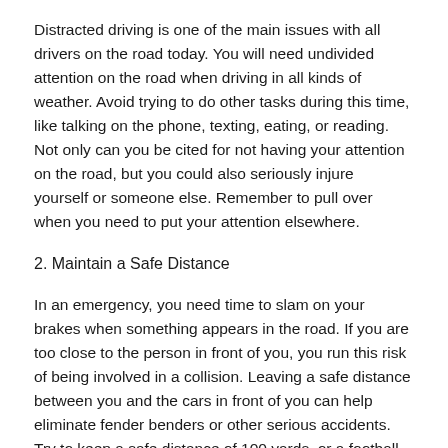Distracted driving is one of the main issues with all drivers on the road today. You will need undivided attention on the road when driving in all kinds of weather. Avoid trying to do other tasks during this time, like talking on the phone, texting, eating, or reading. Not only can you be cited for not having your attention on the road, but you could also seriously injure yourself or someone else. Remember to pull over when you need to put your attention elsewhere.
2. Maintain a Safe Distance
In an emergency, you need time to slam on your brakes when something appears in the road. If you are too close to the person in front of you, you run this risk of being involved in a collision. Leaving a safe distance between you and the cars in front of you can help eliminate fender benders or other serious accidents. Try to keep a safe distance of 100 yards, or a football field, if possible.
Be aware of your driving as often as attention...